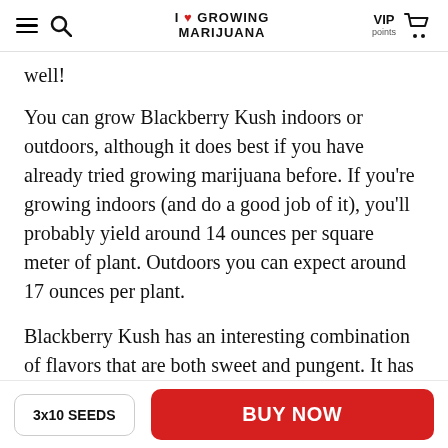I ❤ GROWING MARIJUANA | VIP points | [cart]
well!
You can grow Blackberry Kush indoors or outdoors, although it does best if you have already tried growing marijuana before. If you're growing indoors (and do a good job of it), you'll probably yield around 14 ounces per square meter of plant. Outdoors you can expect around 17 ounces per plant.
Blackberry Kush has an interesting combination of flavors that are both sweet and pungent. It has an
3x10 SEEDS | BUY NOW